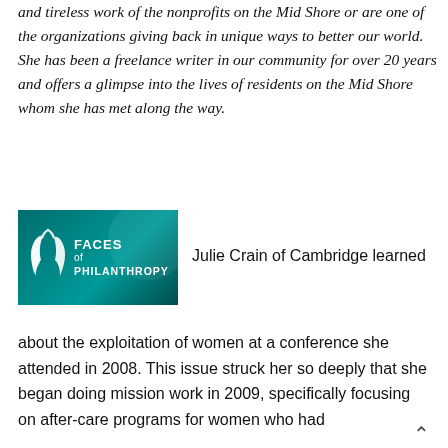and tireless work of the nonprofits on the Mid Shore or are one of the organizations giving back in unique ways to better our world. She has been a freelance writer in our community for over 20 years and offers a glimpse into the lives of residents on the Mid Shore whom she has met along the way.
[Figure (logo): Faces of Philanthropy logo — teal background with two stylized hands and text 'Faces of Philanthropy']
Julie Crain of Cambridge learned about the exploitation of women at a conference she attended in 2008. This issue struck her so deeply that she began doing mission work in 2009, specifically focusing on after-care programs for women who had